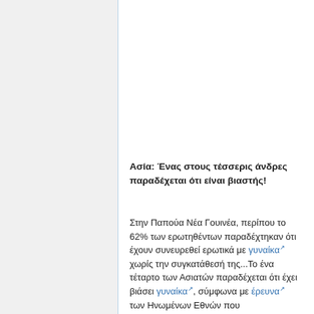Ασία: Ένας στους τέσσερις άνδρες παραδέχεται ότι είναι βιαστής!
Στην Παπούα Νέα Γουινέα, περίπου το 62% των ερωτηθέντων παραδέχτηκαν ότι έχουν συνευρεθεί ερωτικά με γυναίκα χωρίς την συγκατάθεσή της...Το ένα τέταρτο των Ασιατών παραδέχεται ότι έχει βιάσει γυναίκα, σύμφωνα με έρευνα των Ηνωμένων Εθνών που πραγματοποιήθηκε σε έξι